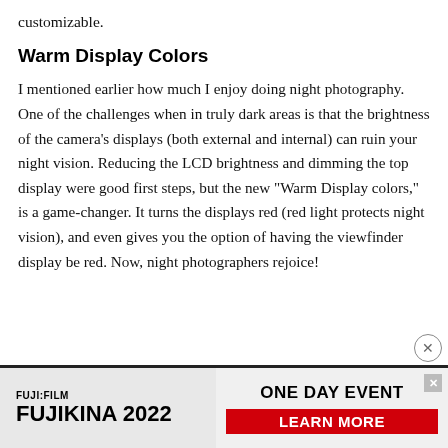customizable.
Warm Display Colors
I mentioned earlier how much I enjoy doing night photography. One of the challenges when in truly dark areas is that the brightness of the camera’s displays (both external and internal) can ruin your night vision. Reducing the LCD brightness and dimming the top display were good first steps, but the new “Warm Display colors,” is a game-changer. It turns the displays red (red light protects night vision), and even gives you the option of having the viewfinder display be red. Now, night photographers rejoice!
[Figure (other): Fujifilm Fujikina 2022 advertisement banner with 'ONE DAY EVENT' and 'LEARN MORE' button]